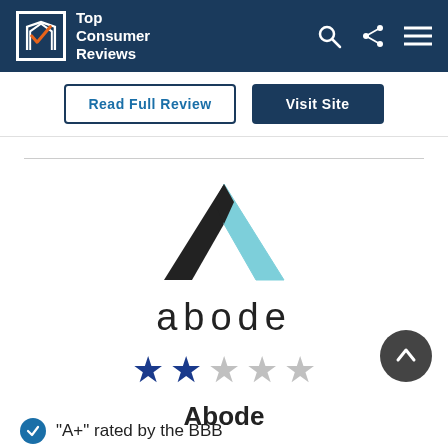Top Consumer Reviews
Read Full Review
Visit Site
[Figure (logo): Abode home security company logo — stylized letter A in black and light blue, with lowercase 'abode' text below]
[Figure (infographic): 2 out of 5 stars rating — two filled dark blue stars and three empty gray stars]
Abode
"A+" rated by the BBB